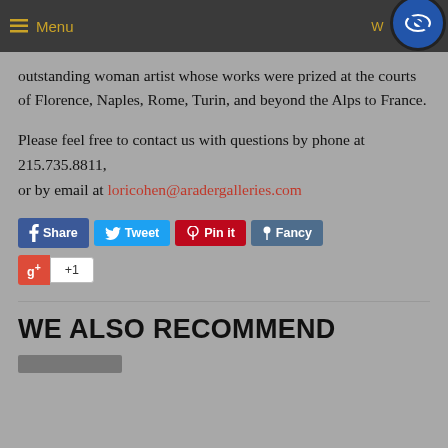Menu
outstanding woman artist whose works were prized at the courts of Florence, Naples, Rome, Turin, and beyond the Alps to France.
Please feel free to contact us with questions by phone at 215.735.8811, or by email at loricohen@aradergalleries.com
[Figure (other): Social sharing buttons: Share (Facebook), Tweet (Twitter), Pin it (Pinterest), Fancy, and Google+1]
WE ALSO RECOMMEND